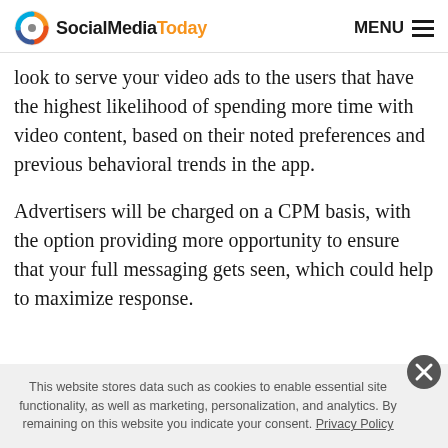SocialMediaToday  MENU
look to serve your video ads to the users that have the highest likelihood of spending more time with video content, based on their noted preferences and previous behavioral trends in the app.
Advertisers will be charged on a CPM basis, with the option providing more opportunity to ensure that your full messaging gets seen, which could help to maximize response.
This website stores data such as cookies to enable essential site functionality, as well as marketing, personalization, and analytics. By remaining on this website you indicate your consent. Privacy Policy